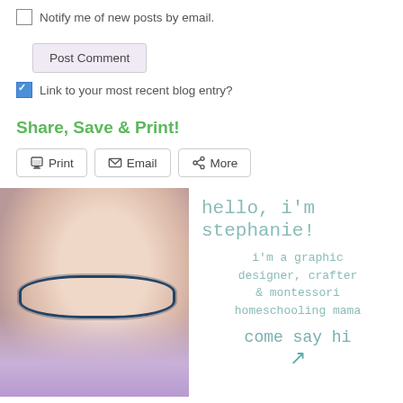Notify me of new posts by email.
Post Comment
Link to your most recent blog entry?
Share, Save & Print!
Print | Email | More
[Figure (photo): Photo of Stephanie, a woman with lavender hair and blue cat-eye glasses, with handwritten text reading: hello, i'm stephanie! i'm a graphic designer, crafter & montessori homeschooling mama come say hi]